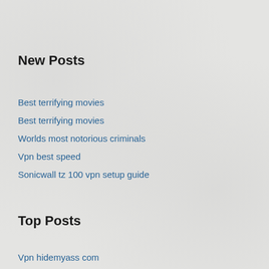New Posts
Best terrifying movies
Best terrifying movies
Worlds most notorious criminals
Vpn best speed
Sonicwall tz 100 vpn setup guide
Top Posts
Vpn hidemyass com